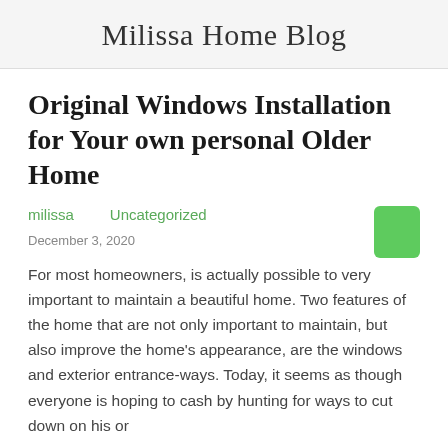Milissa Home Blog
Original Windows Installation for Your own personal Older Home
milissa   Uncategorized
December 3, 2020
For most homeowners, is actually possible to very important to maintain a beautiful home. Two features of the home that are not only important to maintain, but also improve the home's appearance, are the windows and exterior entrance-ways. Today, it seems as though everyone is hoping to cash by hunting for ways to cut down on his or